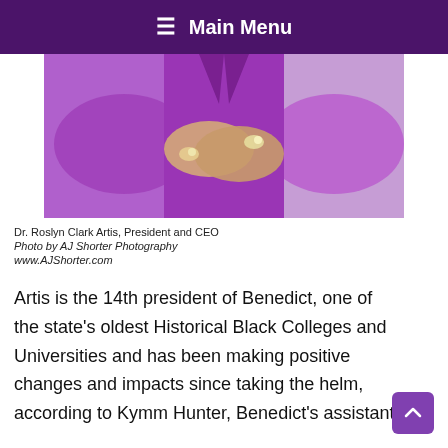≡ Main Menu
[Figure (photo): Photo of Dr. Roslyn Clark Artis, President and CEO, wearing a purple suit with arms crossed at the waist, rings visible on her hands. Background is light gray on the right side.]
Dr. Roslyn Clark Artis, President and CEO
Photo by AJ Shorter Photography
www.AJShorter.com
Artis is the 14th president of Benedict, one of the state's oldest Historical Black Colleges and Universities and has been making positive changes and impacts since taking the helm, according to Kymm Hunter, Benedict's assistant